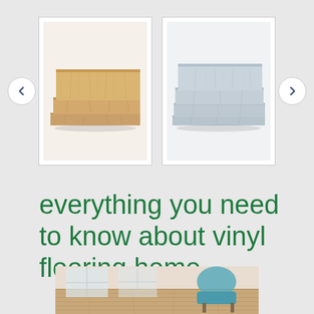[Figure (photo): Carousel with two product thumbnail images: warm wood-toned vinyl flooring planks (left) and grey vinyl flooring planks (right), with left and right navigation arrow buttons on either side.]
everything you need to know about vinyl flooring home
[Figure (photo): Partial bottom image showing a room interior with vinyl flooring, a teal/turquoise chair visible.]